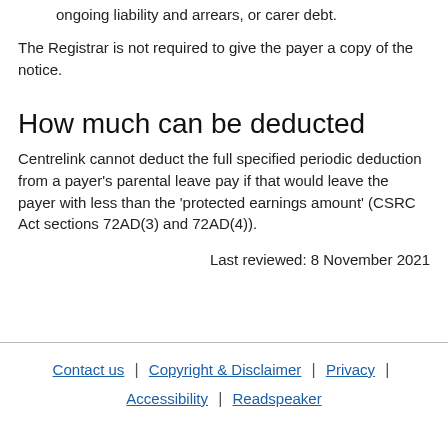ongoing liability and arrears, or carer debt.
The Registrar is not required to give the payer a copy of the notice.
How much can be deducted
Centrelink cannot deduct the full specified periodic deduction from a payer's parental leave pay if that would leave the payer with less than the 'protected earnings amount' (CSRC Act sections 72AD(3) and 72AD(4)).
Last reviewed: 8 November 2021
Contact us | Copyright & Disclaimer | Privacy | Accessibility | Readspeaker